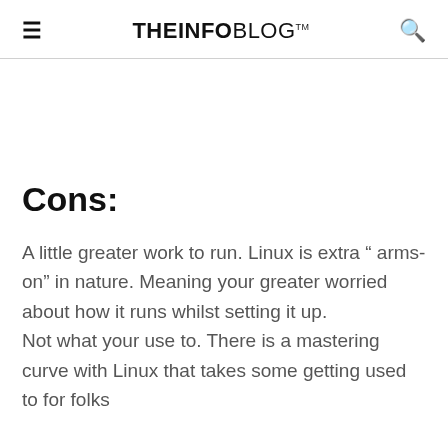THEINFOBLOG™
Cons:
A little greater work to run. Linux is extra " arms-on" in nature. Meaning your greater worried about how it runs whilst setting it up.
Not what your use to. There is a mastering curve with Linux that takes some getting used to for folks